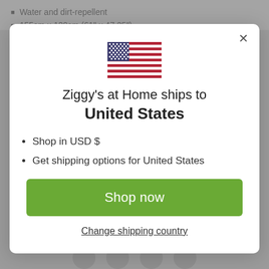Water and dirt-repellent
155cm x 120cm (61" x 47.25")
[Figure (illustration): US flag emoji/icon displayed centered in modal dialog]
Ziggy's at Home ships to
United States
Shop in USD $
Get shipping options for United States
Shop now
Change shipping country